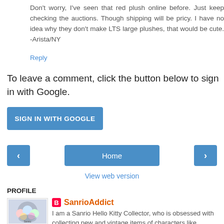Don't worry, I've seen that red plush online before. Just keep checking the auctions. Though shipping will be pricy. I have no idea why they don't make LTS large plushes, that would be cute. -Arista/NY
Reply
To leave a comment, click the button below to sign in with Google.
SIGN IN WITH GOOGLE
[Figure (screenshot): Navigation buttons: left arrow, Home, right arrow]
View web version
PROFILE
[Figure (photo): Profile image showing Sanrio characters]
SanrioAddict
I am a Sanrio Hello Kitty Collector, who is obsessed with collecting new and vintage items of characters like